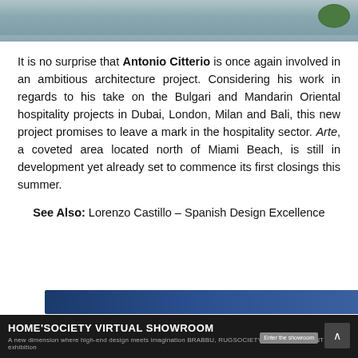[Figure (photo): Top portion of an architectural/landscape image showing a curved road or driveway with greenery on the right side]
It is no surprise that Antonio Citterio is once again involved in an ambitious architecture project. Considering his work in regards to his take on the Bulgari and Mandarin Oriental hospitality projects in Dubai, London, Milan and Bali, this new project promises to leave a mark in the hospitality sector. Arte, a coveted area located north of Miami Beach, is still in development yet already set to commence its first closings this summer.
See Also: Lorenzo Castillo – Spanish Design Excellence
[Figure (screenshot): Bottom of page showing a partial image/banner and a HOME'SOCIETY VIRTUAL SHOWROOM advertisement bar]
HOME'SOCIETY VIRTUAL SHOWROOM — A new dimension where high-end design meets imagination BRABBU, RUGSOCIETY & MAISON VALENTINA exhibition